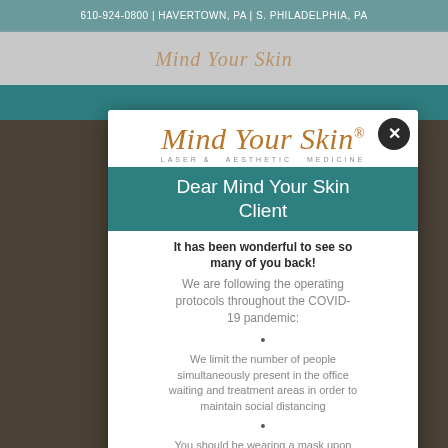610-924-0800 | HAVERTOWN, PA | S. PHILADELPHIA, PA
[Figure (logo): Mind Your Skin script logo in background behind modal]
[Figure (logo): Mind Your Skin Laser & Aesthetic Medicine logo in modal popup]
Dear Mind Your Skin Client
It has been wonderful to see so many of you back! We are following the operating protocols throughout the COVID-19 pandemic:
We limit the number of people simultaneously present in the office waiting and treatment areas in order to maintain social distancing
You should be wearing a mask upon entering the building